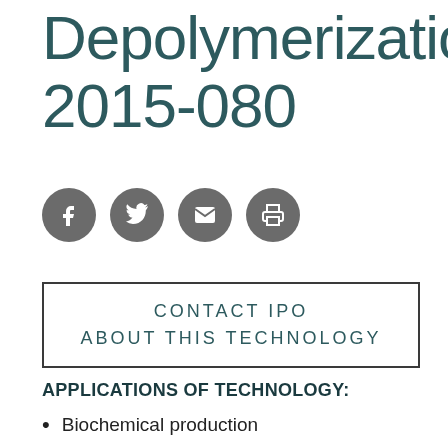Depolymerization 2015-080
[Figure (other): Four social media icon circles (Facebook, Twitter, Email, Print) in dark gray]
CONTACT IPO ABOUT THIS TECHNOLOGY
APPLICATIONS OF TECHNOLOGY:
Biochemical production
Biofuel production
Biorefinery